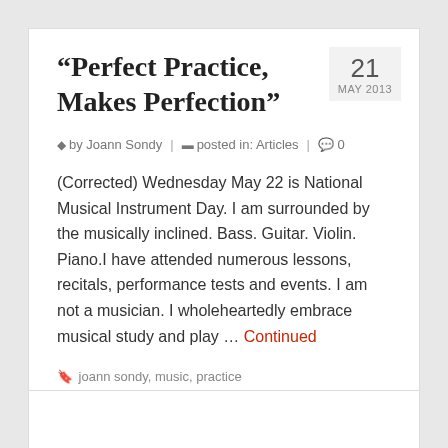“Perfect Practice, Makes Perfection”
by Joann Sondy | posted in: Articles | 0
(Corrected) Wednesday May 22 is National Musical Instrument Day. I am surrounded by the musically inclined. Bass. Guitar. Violin. Piano.I have attended numerous lessons, recitals, performance tests and events. I am not a musician. I wholeheartedly embrace musical study and play … Continued
joann sondy, music, practice